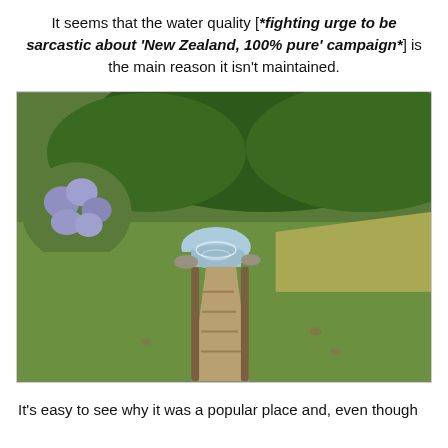It seems that the water quality [*fighting urge to be sarcastic about 'New Zealand, 100% pure' campaign*] is the main reason it isn't maintained.
[Figure (photo): Outdoor photograph of a small stream or water channel flowing through a grassy area, with stone steps or a concrete path leading toward it. Lush green trees and hydrangea bushes with purple/blue flowers are visible in the background.]
It's easy to see why it was a popular place and, even though